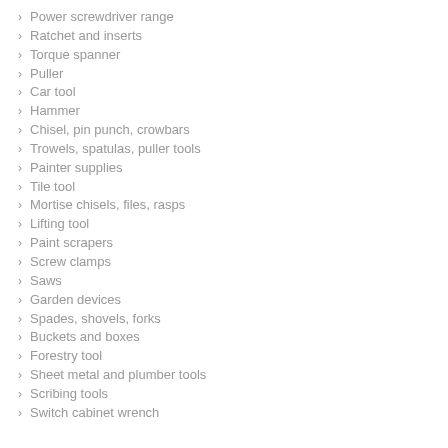Power screwdriver range
Ratchet and inserts
Torque spanner
Puller
Car tool
Hammer
Chisel, pin punch, crowbars
Trowels, spatulas, puller tools
Painter supplies
Tile tool
Mortise chisels, files, rasps
Lifting tool
Paint scrapers
Screw clamps
Saws
Garden devices
Spades, shovels, forks
Buckets and boxes
Forestry tool
Sheet metal and plumber tools
Scribing tools
Switch cabinet wrench